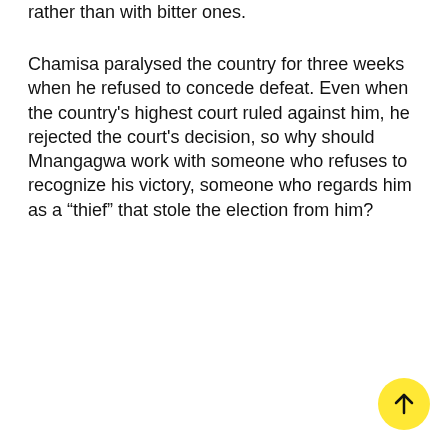rather than with bitter ones.
Chamisa paralysed the country for three weeks when he refused to concede defeat. Even when the country's highest court ruled against him, he rejected the court's decision, so why should Mnangagwa work with someone who refuses to recognize his victory, someone who regards him as a “thief” that stole the election from him?
[Figure (other): Yellow circular scroll-to-top button with an upward arrow icon]